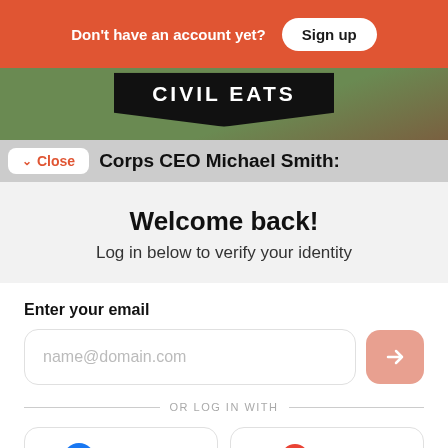Don't have an account yet?
Sign up
[Figure (photo): Header hero image showing Civil Eats logo on green background]
Close
Corps CEO Michael Smith:
Welcome back!
Log in below to verify your identity
Enter your email
name@domain.com
OR LOG IN WITH
Facebook
Google